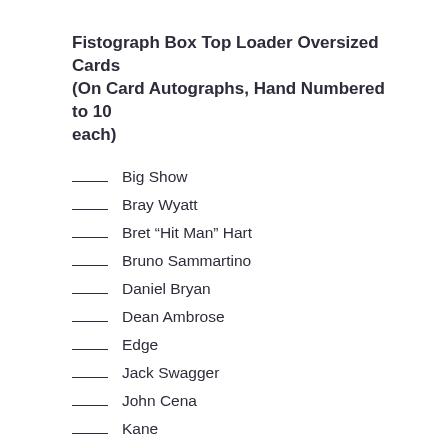Fistograph Box Top Loader Oversized Cards (On Card Autographs, Hand Numbered to 10 each)
___ Big Show
___ Bray Wyatt
___ Bret “Hit Man” Hart
___ Bruno Sammartino
___ Daniel Bryan
___ Dean Ambrose
___ Edge
___ Jack Swagger
___ John Cena
___ Kane
___ King Barrett
___ Lita
___ Mark Henry